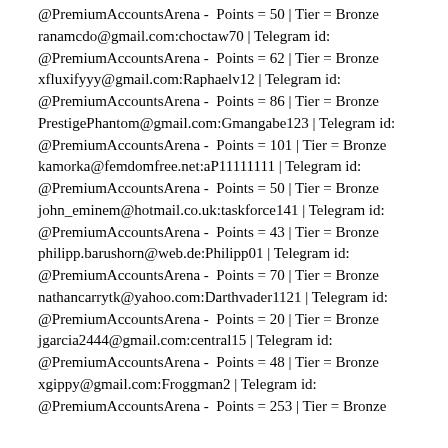@PremiumAccountsArena -  Points = 50 | Tier = Bronze
ranamcdo@gmail.com:choctaw70 | Telegram id: @PremiumAccountsArena -  Points = 62 | Tier = Bronze
xfluxifyyy@gmail.com:Raphaelv12 | Telegram id: @PremiumAccountsArena -  Points = 86 | Tier = Bronze
PrestigePhantom@gmail.com:Gmangabe123 | Telegram id: @PremiumAccountsArena -  Points = 101 | Tier = Bronze
kamorka@femdomfree.net:aP11111111 | Telegram id: @PremiumAccountsArena -  Points = 50 | Tier = Bronze
john_eminem@hotmail.co.uk:taskforce141 | Telegram id: @PremiumAccountsArena -  Points = 43 | Tier = Bronze
philipp.barushorn@web.de:Philipp01 | Telegram id: @PremiumAccountsArena -  Points = 70 | Tier = Bronze
nathancarrytk@yahoo.com:Darthvader1121 | Telegram id: @PremiumAccountsArena -  Points = 20 | Tier = Bronze
jgarcia2444@gmail.com:central15 | Telegram id: @PremiumAccountsArena -  Points = 48 | Tier = Bronze
xgippy@gmail.com:Froggman2 | Telegram id: @PremiumAccountsArena -  Points = 253 | Tier = Bronze